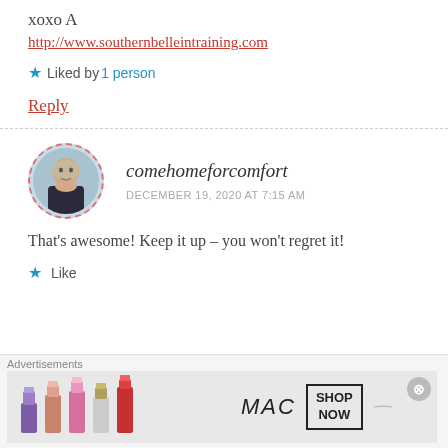xoxo A
http://www.southernbelleintraining.com
Liked by 1 person
Reply
comehomeforcomfort
DECEMBER 19, 2020 AT 7:15 AM
That’s awesome! Keep it up – you won’t regret it!
Like
[Figure (photo): Profile photo of blog commenter, woman with short blonde hair]
Advertisements
[Figure (photo): MAC cosmetics advertisement showing lipsticks with SHOP NOW button]